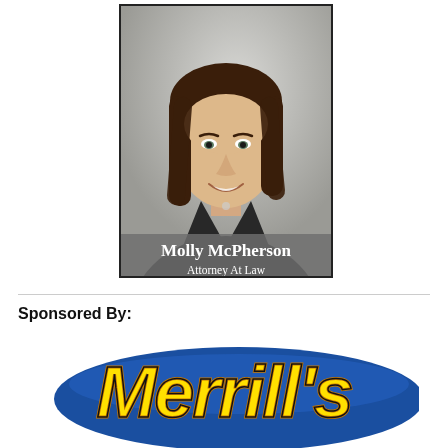[Figure (photo): Professional headshot of Molly McPherson, a woman with dark brown shoulder-length hair wearing a dark blazer, overlaid with name plate reading 'Molly McPherson, Attorney At Law']
Sponsored By:
[Figure (logo): Merrill's logo in yellow script lettering with blue oval background]